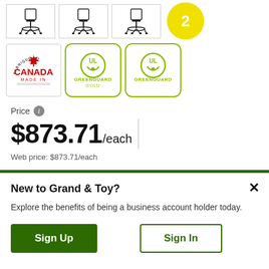[Figure (screenshot): Row of three office chair thumbnail images and a yellow circular badge with number 2]
[Figure (illustration): Row of certification logos: Canada Made In, Greenguard Gold, Greenguard]
Price
$873.71/each
Web price: $873.71/each
New to Grand & Toy?
Explore the benefits of being a business account holder today.
Sign Up
Sign In